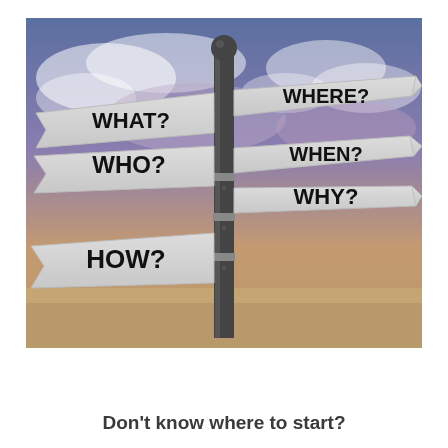[Figure (photo): A directional signpost with multiple arrow-shaped signs pointing in different directions against a dramatic cloudy sky. Signs read: WHAT?, WHERE?, WHO?, WHEN?, WHY?, HOW?]
Don't know where to start?